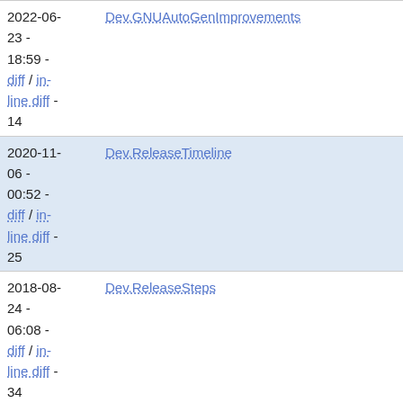| Date | Page |
| --- | --- |
| 2022-06-23 - 18:59 - diff / in-line diff - 14 | Dev.GNUAutoGenImprovements |
| 2020-11-06 - 00:52 - diff / in-line diff - 25 | Dev.ReleaseTimeline |
| 2018-08-24 - 06:08 - diff / in-line diff - 34 | Dev.ReleaseSteps |
| 2017-12-15 - 06:50 - | Dev.FloatingDiv |